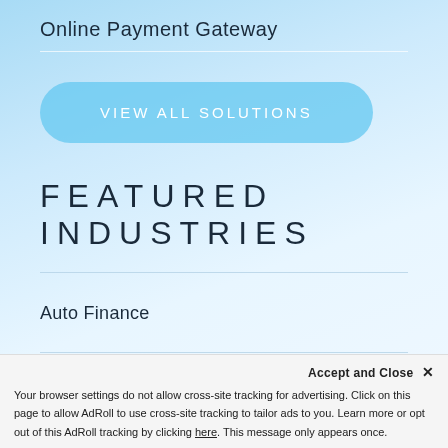Online Payment Gateway
VIEW ALL SOLUTIONS
FEATURED INDUSTRIES
Auto Finance
Collection Agencies
Accept and Close ✕
Your browser settings do not allow cross-site tracking for advertising. Click on this page to allow AdRoll to use cross-site tracking to tailor ads to you. Learn more or opt out of this AdRoll tracking by clicking here. This message only appears once.